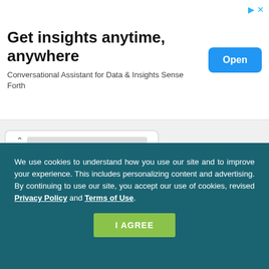[Figure (screenshot): Advertisement banner: 'Get insights anytime, anywhere' with subtitle 'Conversational Assistant for Data & Insights Sense Forth' and a blue 'Open' button]
15 SHARES
[Figure (infographic): Social share buttons: Facebook (blue), Twitter (light blue), Plus/Google+ (red-orange), Pinterest (red), Email (gray)]
We use cookies to understand how you use our site and to improve your experience. This includes personalizing content and advertising. By continuing to use our site, you accept our use of cookies, revised Privacy Policy and Terms of Use.
I AGREE